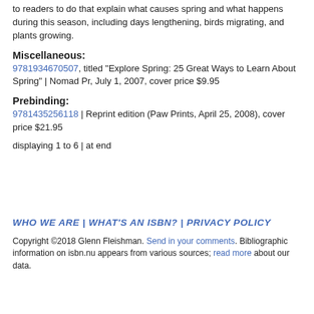to readers to do that explain what causes spring and what happens during this season, including days lengthening, birds migrating, and plants growing.
Miscellaneous:
9781934670507, titled "Explore Spring: 25 Great Ways to Learn About Spring" | Nomad Pr, July 1, 2007, cover price $9.95
Prebinding:
9781435256118 | Reprint edition (Paw Prints, April 25, 2008), cover price $21.95
displaying 1 to 6 | at end
WHO WE ARE | WHAT'S AN ISBN? | PRIVACY POLICY
Copyright ©2018 Glenn Fleishman. Send in your comments. Bibliographic information on isbn.nu appears from various sources; read more about our data.